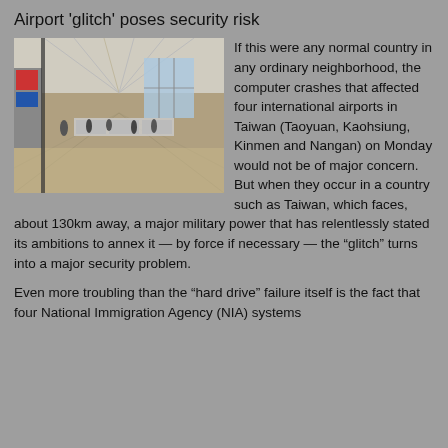Airport 'glitch' poses security risk
[Figure (photo): Interior of a large airport terminal with high ceilings, people walking, shops on the left side, and large windows at the far end.]
If this were any normal country in any ordinary neighborhood, the computer crashes that affected four international airports in Taiwan (Taoyuan, Kaohsiung, Kinmen and Nangan) on Monday would not be of major concern. But when they occur in a country such as Taiwan, which faces, about 130km away, a major military power that has relentlessly stated its ambitions to annex it — by force if necessary — the “glitch” turns into a major security problem.
Even more troubling than the “hard drive” failure itself is the fact that four National Immigration Agency (NIA) systems